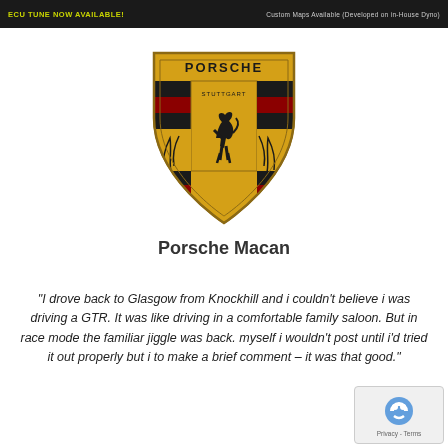ECU TUNE NOW AVAILABLE! | Custom Maps Available (Developed on in-House Dyno)
[Figure (logo): Porsche crest logo in gold, black, and red with Stuttgart horse and antler decorations]
Porsche Macan
"I drove back to Glasgow from Knockhill and i couldn't believe i was driving a GTR. It was like driving in a comfortable family saloon. But in race mode the familiar jiggle was back. myself i wouldn't post until i'd tried it out properly but i to make a brief comment – it was that good."